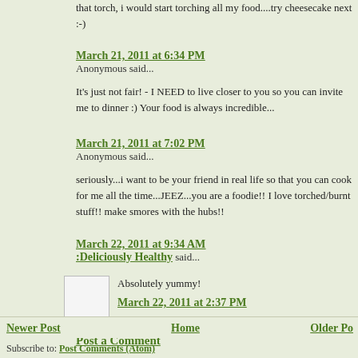that torch, i would start torching all my food....try cheesecake next :-)
March 21, 2011 at 6:34 PM
Anonymous said...
It's just not fair! - I NEED to live closer to you so you can invite me to dinner :) Your food is always incredible...
March 21, 2011 at 7:02 PM
Anonymous said...
seriously...i want to be your friend in real life so that you can cook for me all the time...JEEZ...you are a foodie!! I love torched/burnt stuff!! make smores with the hubs!!
March 22, 2011 at 9:34 AM
:Deliciously Healthy said...
Absolutely yummy!
March 22, 2011 at 2:37 PM
Post a Comment
Newer Post   Home   Older Po...
Subscribe to: Post Comments (Atom)